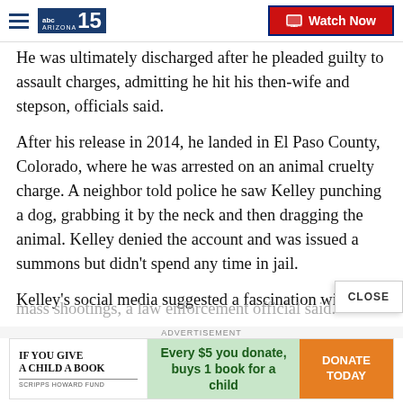abc15 ARIZONA — Watch Now
He was ultimately discharged after he pleaded guilty to assault charges, admitting he hit his then-wife and stepson, officials said.
After his release in 2014, he landed in El Paso County, Colorado, where he was arrested on an animal cruelty charge. A neighbor told police he saw Kelley punching a dog, grabbing it by the neck and then dragging the animal. Kelley denied the account and was issued a summons but didn't spend any time in jail.
Kelley's social media suggested a fascination with
[Figure (other): Advertisement banner: IF YOU GIVE A CHILD A BOOK - SCRIPPS HOWARD FUND. Every $5 you donate, buys 1 book for a child. DONATE TODAY button.]